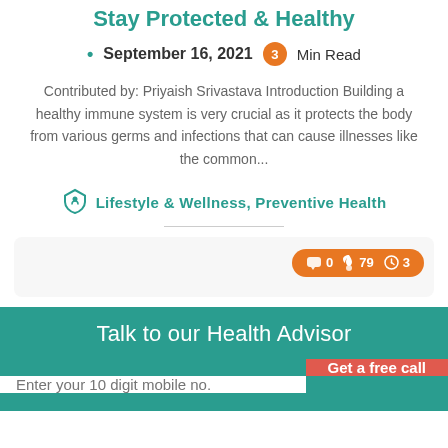Stay Protected & Healthy
September 16, 2021  3 Min Read
Contributed by: Priyaish Srivastava Introduction Building a healthy immune system is very crucial as it protects the body from various germs and infections that can cause illnesses like the common...
Lifestyle & Wellness, Preventive Health
[Figure (infographic): Stats badge showing 0 comments, 79 likes, 3 min read on orange pill-shaped badge]
Talk to our Health Advisor
Enter your 10 digit mobile no.
Get a free call